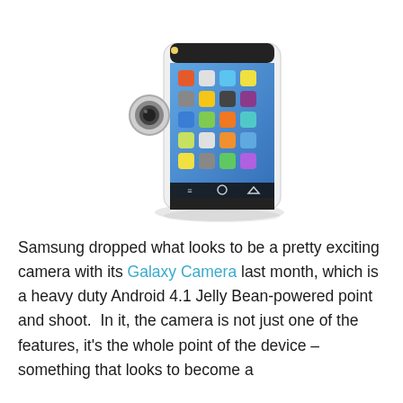[Figure (photo): Samsung Galaxy Camera device — a white and black point-and-shoot camera with a large touchscreen displaying the Android home screen with app icons. The camera has a lens on the left side and the Android navigation buttons at the bottom. A reflection is visible beneath the device.]
Samsung dropped what looks to be a pretty exciting camera with its Galaxy Camera last month, which is a heavy duty Android 4.1 Jelly Bean-powered point and shoot.  In it, the camera is not just one of the features, it's the whole point of the device – something that looks to become a